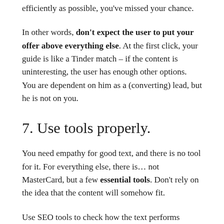efficiently as possible, you've missed your chance.
In other words, don't expect the user to put your offer above everything else. At the first click, your guide is like a Tinder match – if the content is uninteresting, the user has enough other options. You are dependent on him as a (converting) lead, but he is not on you.
7. Use tools properly.
You need empathy for good text, and there is no tool for it. For everything else, there is… not MasterCard, but a few essential tools. Don't rely on the idea that the content will somehow fit.
Use SEO tools to check how the text performs actively: